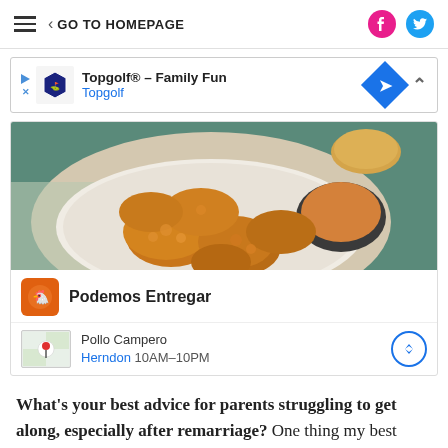GO TO HOMEPAGE
[Figure (screenshot): Advertisement banner for Topgolf - Family Fun with Topgolf logo and navigation diamond icon]
[Figure (photo): Fried chicken pieces on a white plate with dipping sauce, advertisement for Podemos Entregar / Pollo Campero, Herndon 10AM-10PM]
What's your best advice for parents struggling to get along, especially after remarriage? One thing my best friend always said is that you have to decide if something is a make-it or break-it moment. If it's